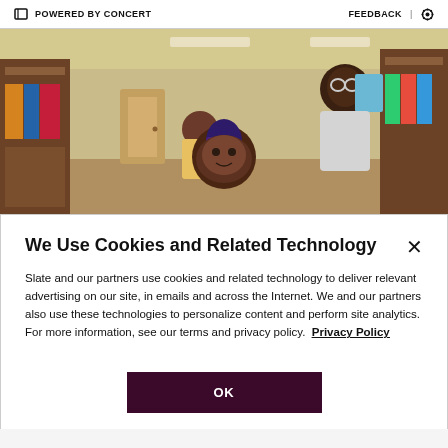POWERED BY CONCERT  |  FEEDBACK  ⚙
[Figure (photo): Two children in a library; one in the foreground facing camera, one in the background holding a book and smiling]
We Use Cookies and Related Technology
Slate and our partners use cookies and related technology to deliver relevant advertising on our site, in emails and across the Internet. We and our partners also use these technologies to personalize content and perform site analytics. For more information, see our terms and privacy policy. Privacy Policy
OK